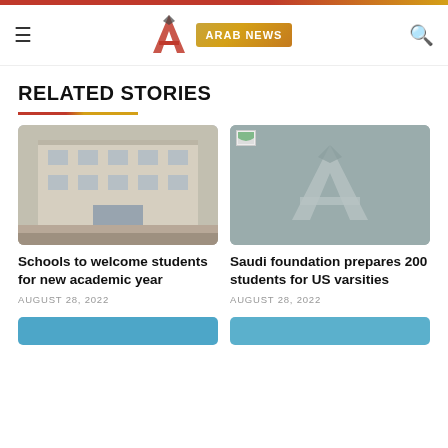Arab News
RELATED STORIES
[Figure (photo): Photo of a multi-story beige building exterior]
Schools to welcome students for new academic year
AUGUST 28, 2022
[Figure (logo): Arab News logo placeholder on grey background]
Saudi foundation prepares 200 students for US varsities
AUGUST 28, 2022